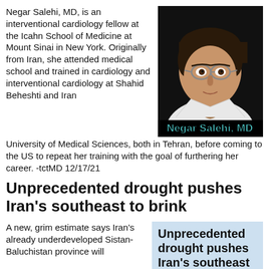Negar Salehi, MD, is an interventional cardiology fellow at the Icahn School of Medicine at Mount Sinai in New York. Originally from Iran, she attended medical school and trained in cardiology and interventional cardiology at Shahid Beheshti and Iran University of Medical Sciences, both in Tehran, before coming to the US to repeat her training with the goal of furthering her career. -tctMD 12/17/21
[Figure (photo): Portrait photo of Negar Salehi, MD — a woman with short dark hair and glasses wearing a white coat, against a dark background. Name label overlay reads 'Negar Salehi, MD' in cyan bold text.]
Unprecedented drought pushes Iran's southeast to brink
A new, grim estimate says Iran's already underdeveloped Sistan-Baluchistan province will
[Figure (infographic): Blue-background text box with bold headline: 'Unprecedented drought pushes Iran's southeast to brink']